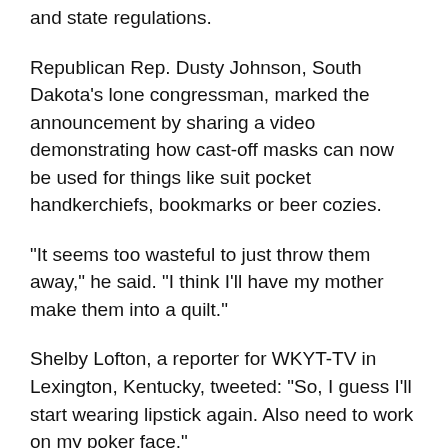and state regulations.
Republican Rep. Dusty Johnson, South Dakota's lone congressman, marked the announcement by sharing a video demonstrating how cast-off masks can now be used for things like suit pocket handkerchiefs, bookmarks or beer cozies.
“It seems too wasteful to just throw them away,” he said. “I think I’ll have my mother make them into a quilt.”
Shelby Lofton, a reporter for WKYT-TV in Lexington, Kentucky, tweeted: “So, I guess I’ll start wearing lipstick again. Also need to work on my poker face.”
In Detroit, a fully vaccinated Christoph Cunningham, 28, wore a mask as he rode an electric scooter to a bar for lunch and said he agrees with the relaxed guidelines.